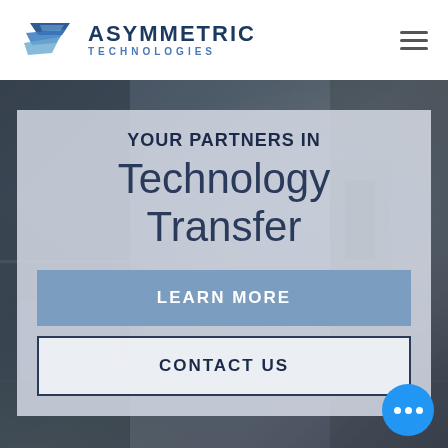[Figure (logo): Asymmetric Technologies logo with stylized blue angular wave/ship shape and company name text]
[Figure (photo): Background photo of industrial/military technology equipment, machinery in dark tones]
YOUR PARTNERS IN
Technology Transfer
LEARN MORE
CONTACT US